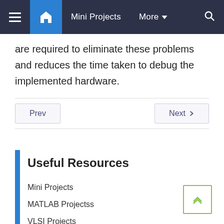Mini Projects  More  🔍
are required to eliminate these problems and reduces the time taken to debug the implemented hardware.
Prev   Next
Useful Resources
Mini Projects
MATLAB Projectss
VLSI Projects
Arduino Projects